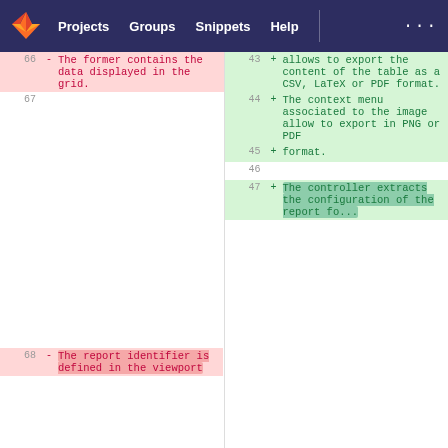GitLab navigation: Projects | Groups | Snippets | Help
[Figure (screenshot): GitLab diff view showing two-column code diff with line numbers. Left side shows deleted lines (red background) with line numbers 66, 67, 68. Right side shows added lines (green background) with line numbers 43, 44, 45, 46, 47. Left line 66: '- The former contains the data displayed in the grid.' Left line 67 empty. Left line 68: '- The report identifier is defined in the viewport'. Right line 43: '+ allows to export the content of the table as a CSV, LaTeX or PDF format.' Right line 44: '+ The context menu associated to the image allow to export in PNG or PDF'. Right line 45: '+ format.' Right line 46 empty. Right line 47: '+ The controller extracts the configuration of the report fo...'.]